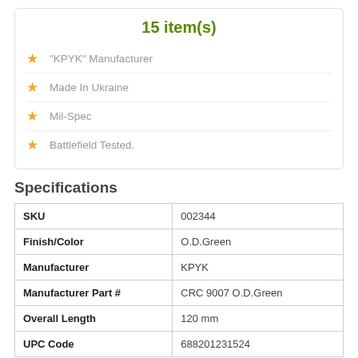15 item(s)
"KPYK" Manufacturer
Made In Ukraine
Mil-Spec
Battlefield Tested.
Specifications
| SKU | 002344 |
| Finish/Color | O.D.Green |
| Manufacturer | KPYK |
| Manufacturer Part # | CRC 9007 O.D.Green |
| Overall Length | 120 mm |
| UPC Code | 688201231524 |